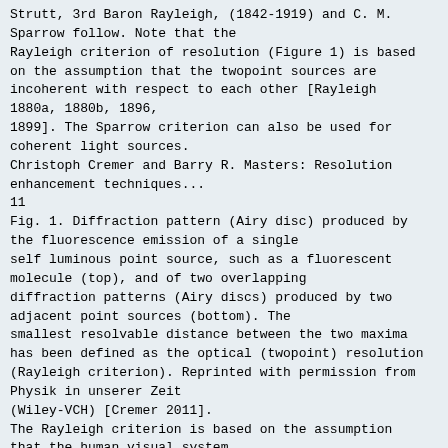Strutt, 3rd Baron Rayleigh, (1842-1919) and C. M. Sparrow follow. Note that the Rayleigh criterion of resolution (Figure 1) is based on the assumption that the twopoint sources are incoherent with respect to each other [Rayleigh 1880a, 1880b, 1896, 1899]. The Sparrow criterion can also be used for coherent light sources.
Christoph Cremer and Barry R. Masters: Resolution enhancement techniques...
11
Fig. 1. Diffraction pattern (Airy disc) produced by the fluorescence emission of a single self luminous point source, such as a fluorescent molecule (top), and of two overlapping diffraction patterns (Airy discs) produced by two adjacent point sources (bottom). The smallest resolvable distance between the two maxima has been defined as the optical (twopoint) resolution (Rayleigh criterion). Reprinted with permission from Physik in unserer Zeit (Wiley-VCH) [Cremer 2011].
The Rayleigh criterion is based on the assumption that the human visual system requires a minimal contrast to separate two luminous, incoherent point sources in a composite intensity distribution. The two points of equal brightness are imaged by a diffraction limited optical system. Due to the finite size of the optics in an optical system a point source of light is not imaged as a point, but as the diffraction pattern